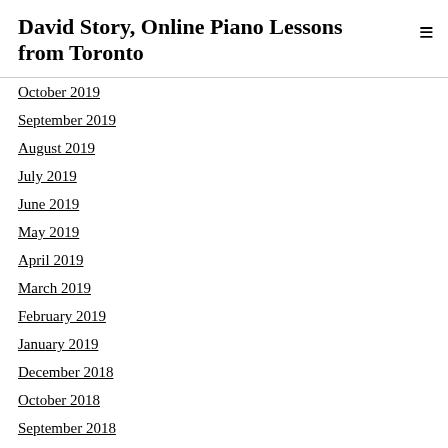David Story, Online Piano Lessons from Toronto
October 2019
September 2019
August 2019
July 2019
June 2019
May 2019
April 2019
March 2019
February 2019
January 2019
December 2018
October 2018
September 2018
August 2018
July 2018
June 2018